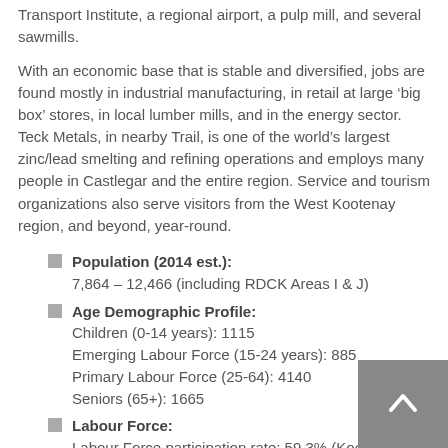Transport Institute, a regional airport, a pulp mill, and several sawmills.
With an economic base that is stable and diversified, jobs are found mostly in industrial manufacturing, in retail at large ‘big box’ stores, in local lumber mills, and in the energy sector. Teck Metals, in nearby Trail, is one of the world’s largest zinc/lead smelting and refining operations and employs many people in Castlegar and the entire region. Service and tourism organizations also serve visitors from the West Kootenay region, and beyond, year-round.
Population (2014 est.): 7,864 – 12,466 (including RDCK Areas I & J)
Age Demographic Profile: Children (0-14 years): 1115 Emerging Labour Force (15-24 years): 885 Primary Labour Force (25-64): 4140 Seniors (65+): 1665
Labour Force: Labour Force participation rate: 59.3% (Kootenay Region)